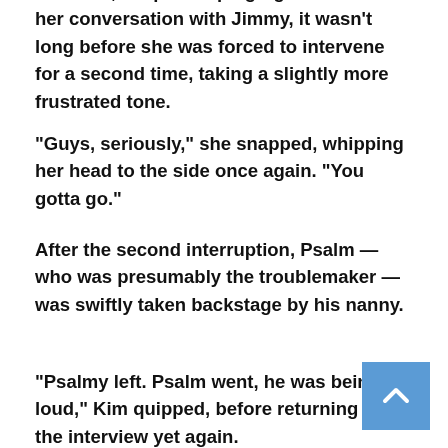However, despite leaping right back into her conversation with Jimmy, it wasn't long before she was forced to intervene for a second time, taking a slightly more frustrated tone.
“Guys, seriously,” she snapped, whipping her head to the side once again. “You gotta go.”
After the second interruption, Psalm — who was presumably the troublemaker — was swiftly taken backstage by his nanny.
“Psalmy left. Psalm went, he was being loud,” Kim quipped, before returning to the interview yet again.
Funnily enough, the boys’ impromptu Tonight Show cameo came just hours after they chaotically crashed